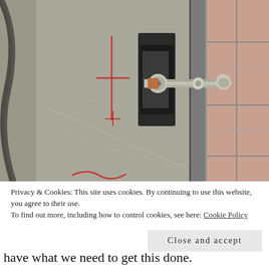[Figure (photo): Close-up photograph of a metal clamping mechanism: a dark rectangular bracket/plate with a bolt and nut assembly passing through it horizontally, clamping against a vertical metal rail or frame. The metal surface is scratched with red marker lines visible. Tiles are visible in the background on the right side.]
Privacy & Cookies: This site uses cookies. By continuing to use this website, you agree to their use.
To find out more, including how to control cookies, see here: Cookie Policy
Close and accept
have what we need to get this done.